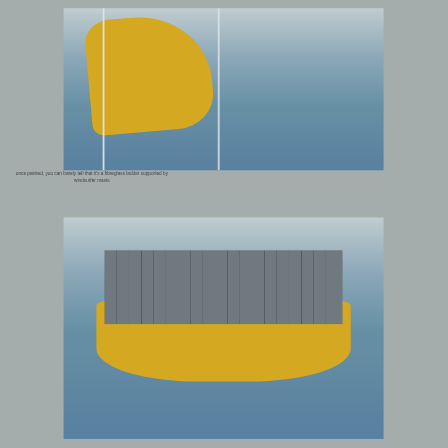[Figure (photo): Yellow sailboat hull suspended above water by a white metal/fibreglass ladder frame supported by windsurfer masts, viewed from an angle showing the boat's underside and the dock/water below.]
once painted, you can barely tell that it's a fibreglass ladder supported by windsurfer masts
[Figure (photo): Yellow motorboat with white interior seating and a large array of solar panels mounted on a raised frame above the boat, moored in calm water, viewed from above and slightly to the side.]